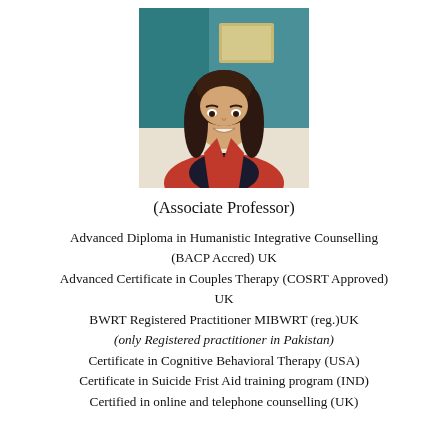[Figure (photo): Portrait photo of a young woman with long dark hair wearing a red blazer over a dark top, smiling, indoor background with teal wall.]
(Associate Professor)
Advanced Diploma in Humanistic Integrative Counselling (BACP Accred) UK
Advanced Certificate in Couples Therapy (COSRT Approved) UK
BWRT Registered Practitioner MIBWRT (reg.)UK
(only Registered practitioner in Pakistan)
Certificate in Cognitive Behavioral Therapy (USA)
Certificate in Suicide Frist Aid training program (IND)
Certified in online and telephone counselling (UK)